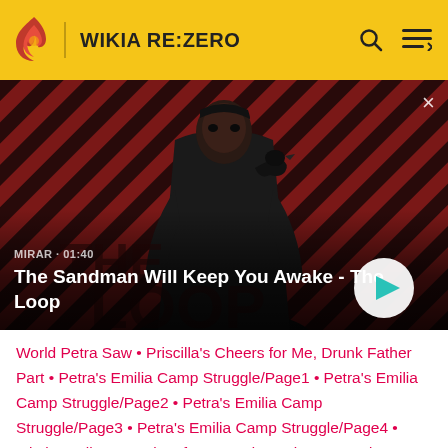WIKIA RE:ZERO
[Figure (screenshot): Video thumbnail showing a dark-clad figure with a bird on shoulder against a red and dark diagonal stripe background. Text overlay: 'MIRAR · 01:40' and title 'The Sandman Will Keep You Awake - The Loop' with a play button. A close (×) button is in the top right.]
World Petra Saw • Priscilla's Cheers for Me, Drunk Father Part • Petra's Emilia Camp Struggle/Page1 • Petra's Emilia Camp Struggle/Page2 • Petra's Emilia Camp Struggle/Page3 • Petra's Emilia Camp Struggle/Page4 • Mimi Pearlbaton's Bite of Love and Passion • Sword